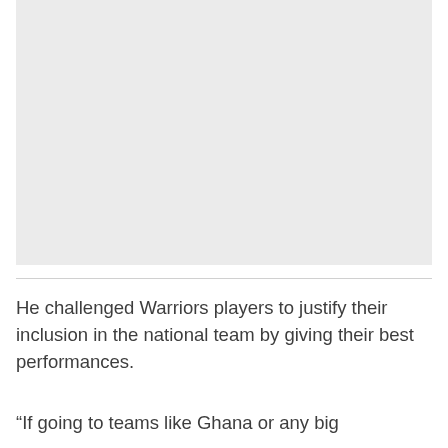[Figure (photo): Large image placeholder with light gray background]
He challenged Warriors players to justify their inclusion in the national team by giving their best performances.
“If going to teams like Ghana or any big